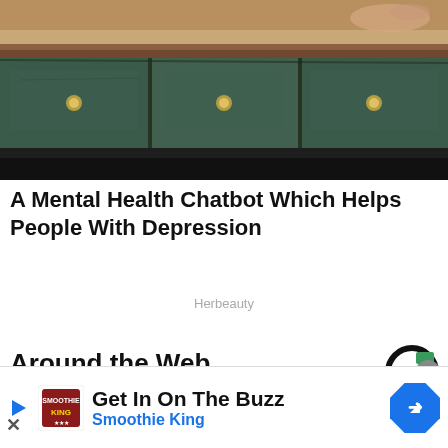[Figure (photo): Photo of a wooden table or dresser with teal/green drawers with brass knobs, hands resting on the table surface]
A Mental Health Chatbot Which Helps People With Depression
Herbeauty
Around the Web
[Figure (logo): Taboola logo - circular icon with black ring and green square]
[Figure (photo): Close-up photo of a nose covered in white powder or sand, skin texture visible]
Get In On The Buzz
Smoothie King